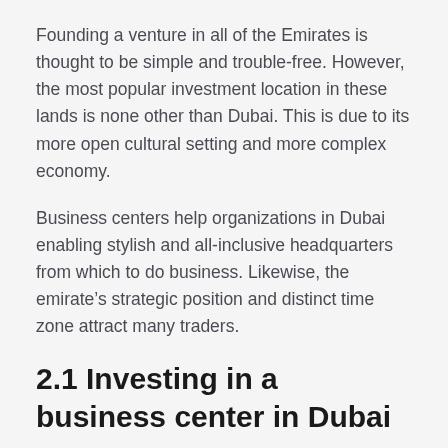Founding a venture in all of the Emirates is thought to be simple and trouble-free. However, the most popular investment location in these lands is none other than Dubai. This is due to its more open cultural setting and more complex economy.
Business centers help organizations in Dubai enabling stylish and all-inclusive headquarters from which to do business. Likewise, the emirate’s strategic position and distinct time zone attract many traders.
2.1 Investing in a business center in Dubai
In Dubai, the business centers benefit from a fecund ambiance for firms of all kinds. Anyone who wants to expand their options can discover the right answer.
When hiring an office space, the business center benefits contain ways for establishing new ventures and answers for those with flexible rental requests. They provide a wide array of services,